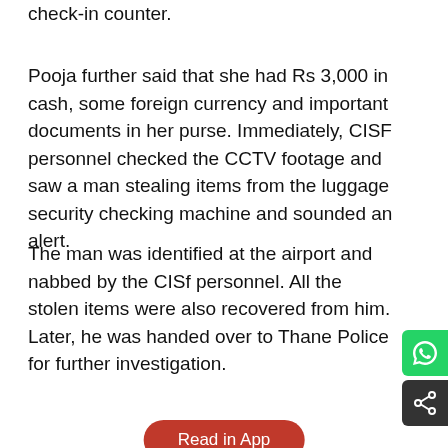check-in counter.
Pooja further said that she had Rs 3,000 in cash, some foreign currency and important documents in her purse. Immediately, CISF personnel checked the CCTV footage and saw a man stealing items from the luggage security checking machine and sounded an alert.
The man was identified at the airport and nabbed by the CISf personnel. All the stolen items were also recovered from him. Later, he was handed over to Thane Police for further investigation.
Read in App
Live Tv